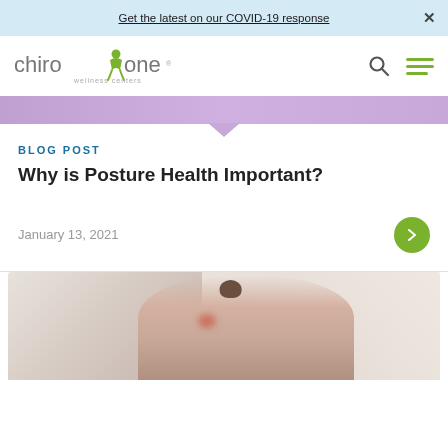Get the latest on our COVID-19 response  ×
[Figure (logo): ChiroOne Wellness Centers logo with stylized figure and green/gray wordmark]
[Figure (photo): Purple-tinted hero image strip with downward pointing chevron]
BLOG POST
Why is Posture Health Important?
January 13, 2021
[Figure (photo): Woman with hair in bun holding neck/shoulder area, viewed from behind, near a window with light curtains]